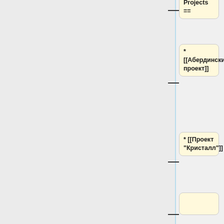Projects ==
* [[Абердинский проект]]
* [[Проект "Кристалл"]]
== Teaching interests ==
* Introduction to Nanomechanics
* Engineering Mechanics
== Links ==
*